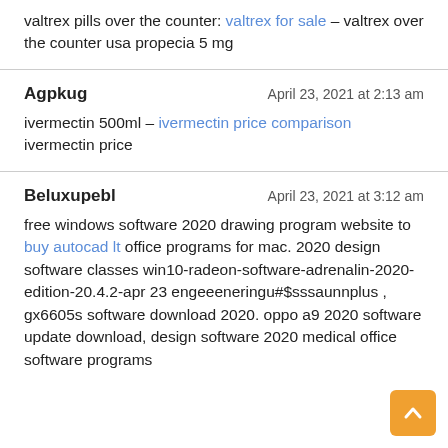valtrex pills over the counter: valtrex for sale – valtrex over the counter usa propecia 5 mg
Agpkug   April 23, 2021 at 2:13 am
ivermectin 500ml – ivermectin price comparison ivermectin price
Beluxupebl   April 23, 2021 at 3:12 am
free windows software 2020 drawing program website to buy autocad lt office programs for mac. 2020 design software classes win10-radeon-software-adrenalin-2020-edition-20.4.2-apr 23 engeeeneringu#$sssaunnplus , gx6605s software download 2020. oppo a9 2020 software update download, design software 2020 medical office software programs